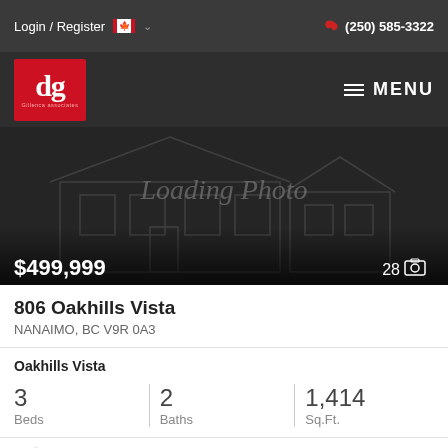Login / Register  (250) 585-3322
[Figure (logo): DG Gillenca Associates real estate logo, red square with white 'dg' letters]
[Figure (photo): Loading property photo placeholder showing faint house outline on dark background]
$499,999   28 photos
806 Oakhills Vista
NANAIMO, BC V9R 0A3
Oakhills Vista
3 Beds   2 Baths   1,414 Sq.Ft.
RE/MAX Of Nanaimo